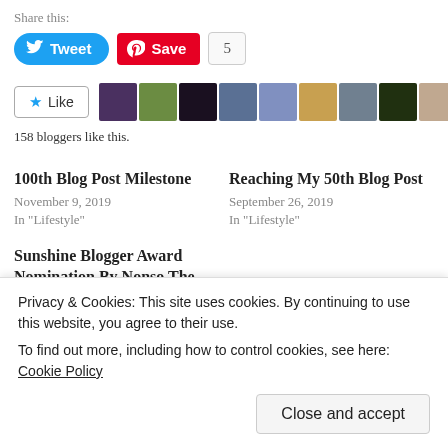Share this:
Tweet  Save  5
Like  [avatars of 158 bloggers]
158 bloggers like this.
100th Blog Post Milestone
November 9, 2019
In "Lifestyle"
Reaching My 50th Blog Post
September 26, 2019
In "Lifestyle"
Sunshine Blogger Award Nomination By Nonso The
Privacy & Cookies: This site uses cookies. By continuing to use this website, you agree to their use.
To find out more, including how to control cookies, see here: Cookie Policy
Close and accept